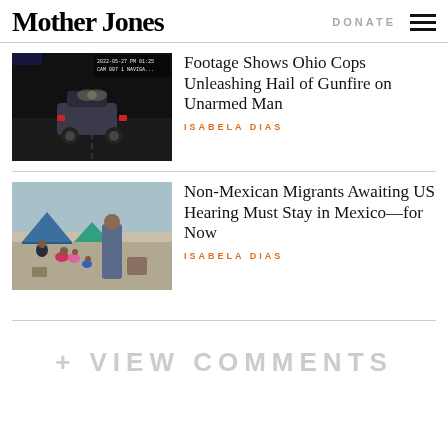Mother Jones | DONATE
[Figure (photo): Dashcam night footage of a car with police lights, Ohio]
Footage Shows Ohio Cops Unleashing Hail of Gunfire on Unarmed Man
ISABELA DIAS
[Figure (photo): Group of migrant families with children sitting near tents]
Non-Mexican Migrants Awaiting US Hearing Must Stay in Mexico—for Now
ISABELA DIAS
+ VIEW COMMENTS